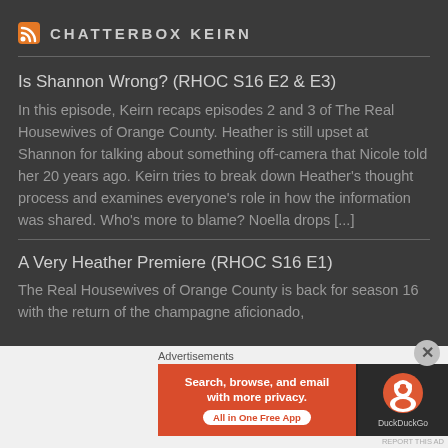CHATTERBOX KEIRN
Is Shannon Wrong? (RHOC S16 E2 & E3)
In this episode, Keirn recaps episodes 2 and 3 of The Real Housewives of Orange County. Heather is still upset at Shannon for talking about something off-camera that Nicole told her 20 years ago. Keirn tries to break down Heather's thought process and examines everyone's role in how the information was shared. Who's more to blame? Noella drops [...]
A Very Heather Premiere (RHOC S16 E1)
The Real Housewives of Orange County is back for season 16 with the return of the champagne aficionado,
[Figure (infographic): DuckDuckGo advertisement banner with orange left panel reading 'Search, browse, and email with more privacy. All in One Free App' and dark right panel with DuckDuckGo logo]
Advertisements